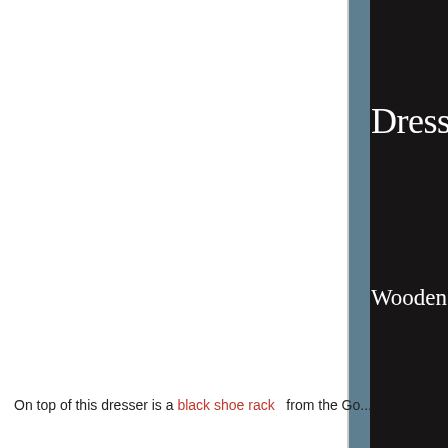[Figure (photo): A close-up photo of a dark/black dresser with white serif text labels reading 'Dress Up', 'Wooden Block', and 'Duplo' on drawer fronts. The background shows a blue-gray wall. The dresser has wooden flooring visible at the bottom.]
On top of this dresser is a black shoe rack  from the Go...